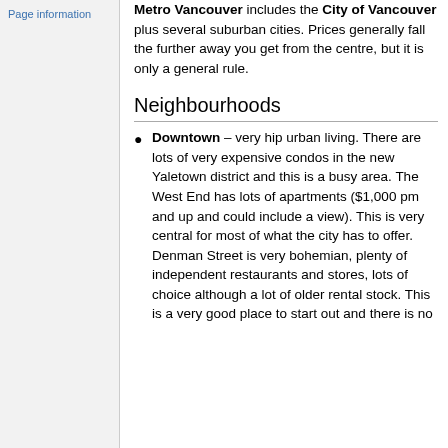Page information
Metro Vancouver includes the City of Vancouver plus several suburban cities. Prices generally fall the further away you get from the centre, but it is only a general rule.
Neighbourhoods
Downtown – very hip urban living. There are lots of very expensive condos in the new Yaletown district and this is a busy area. The West End has lots of apartments ($1,000 pm and up and could include a view). This is very central for most of what the city has to offer. Denman Street is very bohemian, plenty of independent restaurants and stores, lots of choice although a lot of older rental stock. This is a very good place to start out and there is no